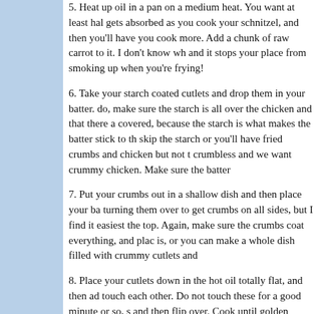5. Heat up oil in a pan on a medium heat. You want at least half an inch of oil in the pan, as some gets absorbed as you cook your schnitzel, and then you'll have enough oil for the next batch when you cook more. Add a chunk of raw carrot to it. I don't know why, but it flavours the oil nicely and it stops your place from smoking up when you're frying!
6. Take your starch coated cutlets and drop them in your batter. When you do, make sure the starch is all over the chicken and that there are no bare patches not covered, because the starch is what makes the batter stick to the chicken. Do not skip the starch or you'll have fried crumbs and chicken but not together. No one likes crumbless and we want crummy chicken. Make sure the batter coats everything.
7. Put your crumbs out in a shallow dish and then place your battered cutlets in it, turning them over to get crumbs on all sides, but I find it easiest to press the crumbs onto the top. Again, make sure the crumbs coat everything, and place to one side when it is, or you can make a whole dish filled with crummy cutlets and fry them altogether.
8. Place your cutlets down in the hot oil totally flat, and then add more cutlets, but don't touch each other. Do not touch these for a good minute or so, so as to seal in the coating, and then flip over. Cook until golden brown on both sides, flipping as needed. Depending on how thick they are, you may need more or less time. If you are unsure, remove one and insert a knife into the thickest part, and check to see that the chicken is solidly cooked all the way through.
9. Remove from the pan and place on a napkin lined plate or pa
10. If you have any leftover batter or crumbs, feel free to use